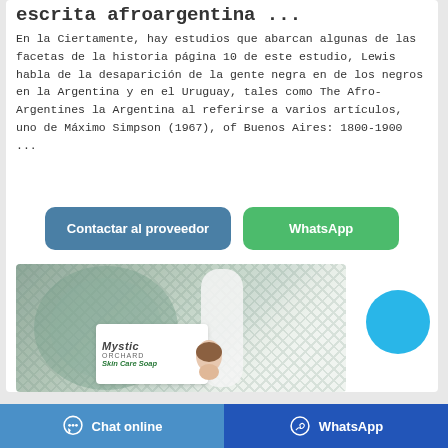escrita afroargentina ...
En la Ciertamente, hay estudios que abarcan algunas de las facetas de la historia página 10 de este estudio, Lewis habla de la desaparición de la gente negra en de los negros en la Argentina y en el Uruguay, tales como The Afro-Argentines la Argentina al referirse a varios artículos, uno de Máximo Simpson (1967), of Buenos Aires: 1800-1900 ...
[Figure (other): Two buttons: 'Contactar al proveedor' (blue-grey) and 'WhatsApp' (green)]
[Figure (photo): Photo of a textured ceramic vase, white object, and Mystic Orchard SkinCare Soap product label with a woman's face]
Chat online   WhatsApp